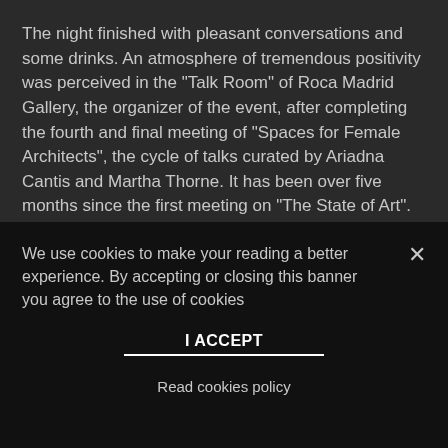The night finished with pleasant conversations and some drinks. An atmosphere of tremendous positivity was perceived in the "Talk Room" of Roca Madrid Gallery, the organizer of the event, after completing the fourth and final meeting of "Spaces for Female Architects", the cycle of talks curated by Ariadna Cantis and Martha Thorne. It has been over five months since the first meeting on "The State of Art". This night was the turn of
We use cookies to make your reading a better experience. By accepting or closing this banner you agree to the use of cookies
I ACCEPT
Read cookies policy